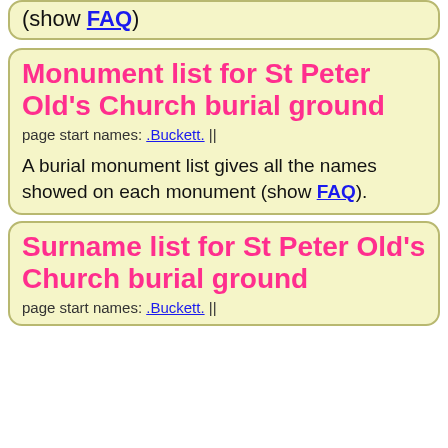(show FAQ)
Monument list for St Peter Old's Church burial ground
page start names: .Buckett. ||
A burial monument list gives all the names showed on each monument (show FAQ).
Surname list for St Peter Old's Church burial ground
page start names: .Buckett. ||